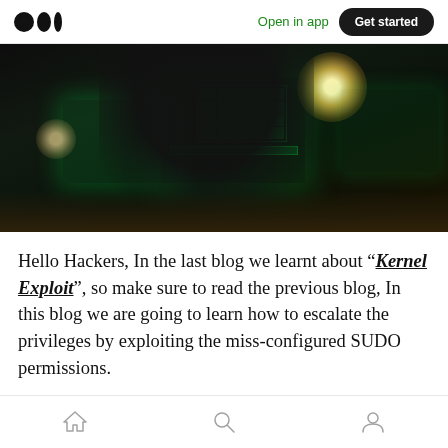Open in app | Get started
[Figure (photo): A person viewed from behind sitting at a desk surrounded by multiple computer monitors displaying green-tinted code/hacker interfaces, with a bright desk lamp glowing in the background on the right side. Dark, moody hacker aesthetic.]
Hello Hackers, In the last blog we learnt about “Kernel Exploit”, so make sure to read the previous blog, In this blog we are going to learn how to escalate the privileges by exploiting the miss-configured SUDO permissions.
Home | Search | Profile